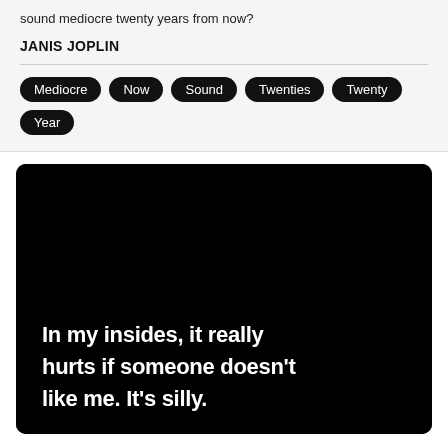sound mediocre twenty years from now?
JANIS JOPLIN
Mediocre
Now
Sound
Twenties
Twenty
Year
[Figure (illustration): Black background image with large white bold text reading: In my insides, it really hurts if someone doesn't like me. It's silly.]